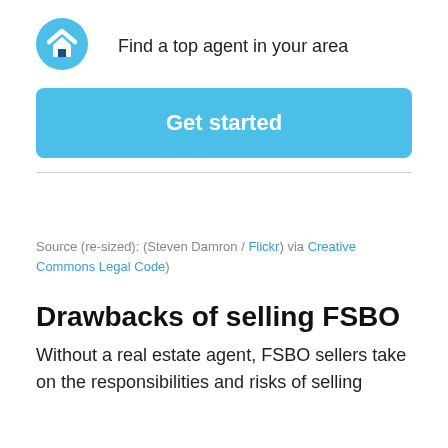[Figure (logo): HomeLight logo: blue circle with white chevron/house icon]
Find a top agent in your area
Get started
Source (re-sized): (Steven Damron / Flickr) via Creative Commons Legal Code)
Drawbacks of selling FSBO
Without a real estate agent, FSBO sellers take on the responsibilities and risks of selling